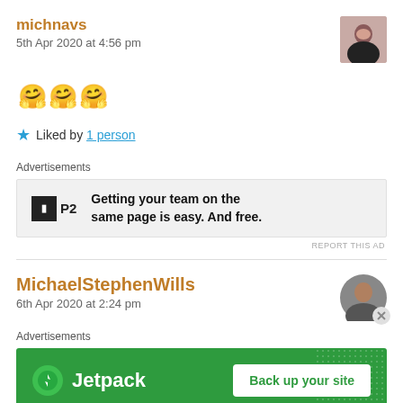michnavs
5th Apr 2020 at 4:56 pm
[Figure (illustration): Woman avatar thumbnail]
🤗🤗🤗
★ Liked by 1 person
Advertisements
[Figure (screenshot): P2 ad: Getting your team on the same page is easy. And free.]
REPORT THIS AD
MichaelStephenWills
6th Apr 2020 at 2:24 pm
[Figure (photo): Man avatar thumbnail]
Advertisements
[Figure (screenshot): Jetpack ad: Back up your site]